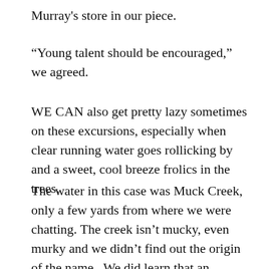Murray's store in our piece.
“Young talent should be encouraged,” we agreed.
WE CAN also get pretty lazy sometimes on these excursions, especially when clear running water goes rollicking by and a sweet, cool breeze frolics in the trees.
The water in this case was Muck Creek, only a few yards from where we were chatting. The creek isn’t mucky, even murky and we didn’t find out the origin of the name.  We did learn that an early-day land company had thought the stream needed more dignity and had